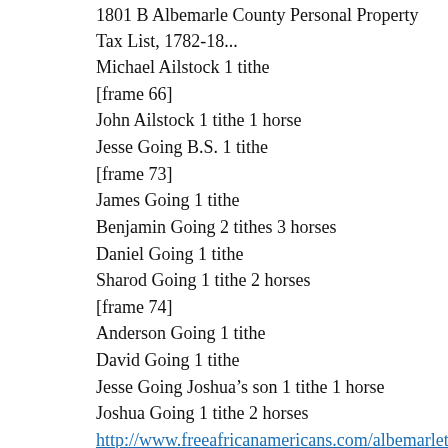1801 B Albemarle County Personal Property Tax List, 1782-18...
Michael Ailstock 1 tithe
[frame 66]
John Ailstock 1 tithe 1 horse
Jesse Going B.S. 1 tithe
[frame 73]
James Going 1 tithe
Benjamin Going 2 tithes 3 horses
Daniel Going 1 tithe
Sharod Going 1 tithe 2 horses
[frame 74]
Anderson Going 1 tithe
David Going 1 tithe
Jesse Going Joshua’s son 1 tithe 1 horse
Joshua Going 1 tithe 2 horses
http://www.freeafricanamericans.com/albemarletax.htm
1802 B, Albemarle County Personal Property Tax List, 1782-18...
List of James Garth